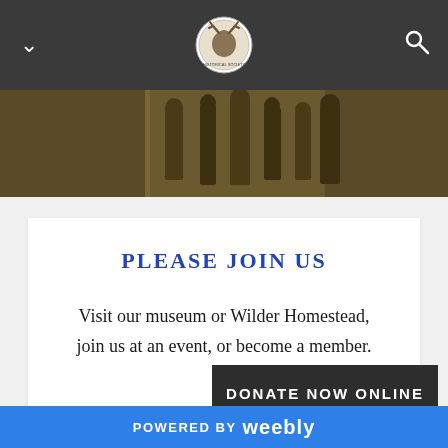[Figure (screenshot): Navigation bar with dark background, chevron/menu icon on left, circular organization logo in center, search icon on right]
[Figure (photo): Sepia-tone historical photograph showing people standing, cropped to show lower bodies/legs in period clothing]
PLEASE JOIN US
Visit our museum or Wilder Homestead, join us at an event, or become a member.
DONATE NOW ONLINE
POWERED BY weebly